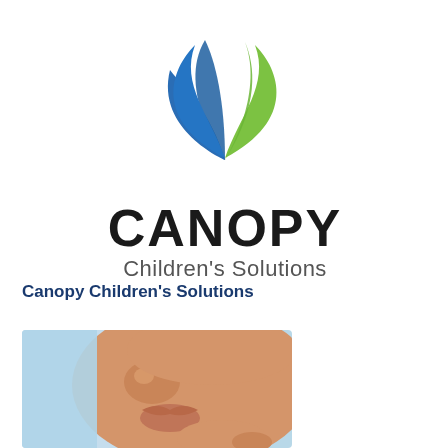[Figure (logo): Canopy Children's Solutions logo: two leaf/wing shapes (blue on left, green on right) forming a butterfly-like symbol above the text CANOPY in bold black and Children's Solutions in gray]
Canopy Children's Solutions
[Figure (photo): Close-up photo of a child's face in profile, showing nose and lips, with a blurred light blue background]